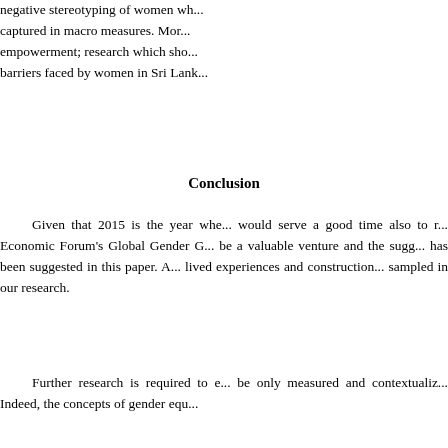negative stereotyping of women wh... captured in macro measures. Mor... empowerment; research which sho... barriers faced by women in Sri Lank...
Conclusion
Given that 2015 is the year whe... would serve a good time also to r... Economic Forum's Global Gender G... be a valuable venture and the sugg... has been suggested in this paper. A... lived experiences and construction... sampled in our research.
Further research is required to e... be only measured and contextualiz... Indeed, the concepts of gender equ... policy in this regard. Our research... female employment is used as a po... However, we found that formal em... when it occurred in large numbers. A... Once this debate and discussion... development policy can be discusse...
To achieve a constructive chan...